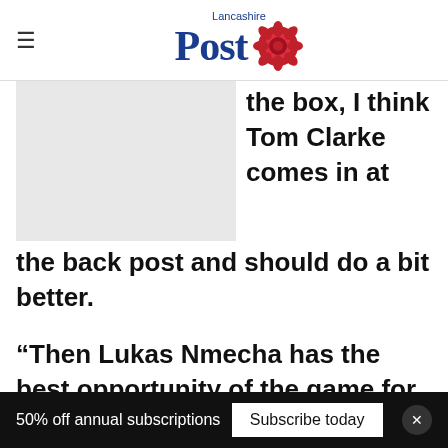Lancashire Post
[Figure (photo): Placeholder image (grey box) occupying left portion of content area]
the box, I think Tom Clarke comes in at the back post and should do a bit better.
“Then Lukas Nmecha has the best opportunity of the game for me.
“When it’s 1-1 with three minutes to go you
50% off annual subscriptions   Subscribe today